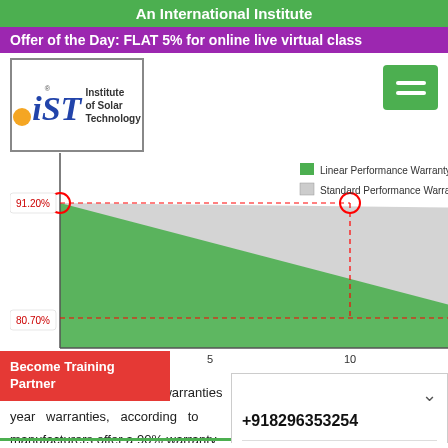An International Institute
Offer of the Day: FLAT 5% for online live virtual class
[Figure (logo): Institute of Solar Technology (IST) logo with sun and leaf icon]
[Figure (area-chart): Area chart showing linear performance warranty (green) vs standard performance warranty (gray) over years 1, 5, 10]
Spec sheets also mention warranties year warranties, according to manufacturers offer a 90% warranty decrease that amount as the panel panels have better warranties.
Hopefully this helps while you're reviewing spec sheets. We highly recommend step of testing out a solar software platform, it will
+918296353254
+918479838828
11 AM to 6 PM
Become Training Partner